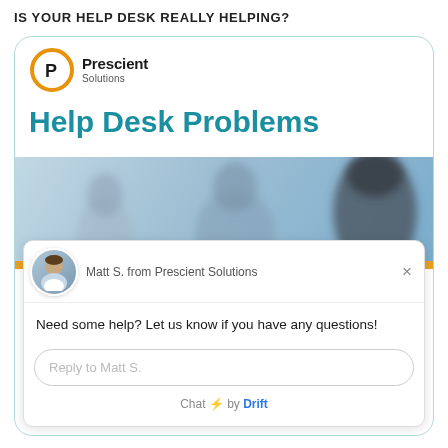IS YOUR HELP DESK REALLY HELPING?
[Figure (screenshot): Prescient Solutions branded page with Help Desk Problems header, photo of call center agents, and Drift chat widget overlay featuring Matt S. from Prescient Solutions asking 'Need some help? Let us know if you have any questions!' with a reply input box and 'Chat by Drift' footer.]